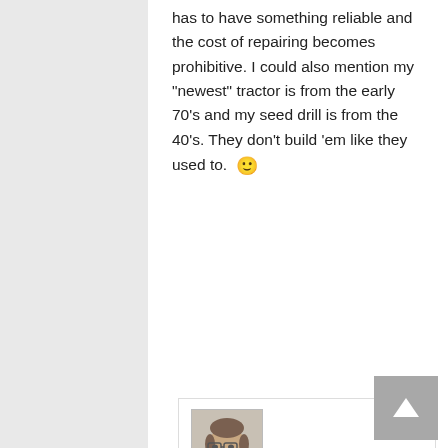has to have something reliable and the cost of repairing becomes prohibitive. I could also mention my "newest" tractor is from the early 70's and my seed drill is from the 40's. They don't build 'em like they used to. 🙂
[Figure (photo): Avatar photo of commenter Mark — a man with glasses and short hair wearing a light-colored shirt]
Reply
Mark
May 18, 2016 at 6:04 am · Edit
I think I will need a new front stabilizer, likely new brakes lines because they are rusted and new tires because these ones are bald. Good brakes and tires are essential, so those will be